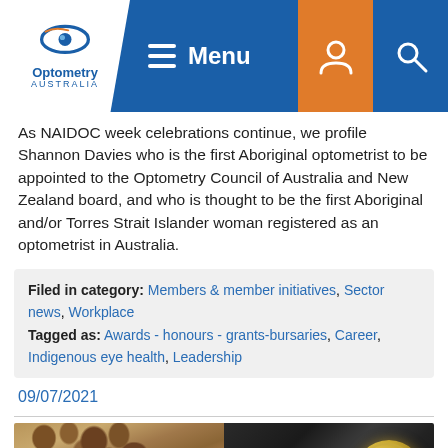Optometry Australia — Menu
As NAIDOC week celebrations continue, we profile Shannon Davies who is the first Aboriginal optometrist to be appointed to the Optometry Council of Australia and New Zealand board, and who is thought to be the first Aboriginal and/or Torres Strait Islander woman registered as an optometrist in Australia.
Filed in category: Members & member initiatives, Sector news, Workplace
Tagged as: Awards - honours - grants-bursaries, Career, Indigenous eye health, Leadership
09/07/2021
[Figure (photo): Two photos side by side: left shows a person with curly hair, right shows a gold medal/coin on a dark surface.]